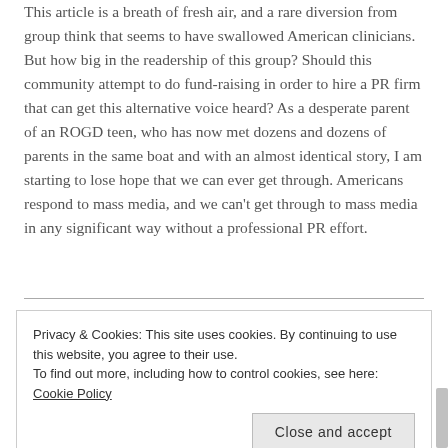This article is a breath of fresh air, and a rare diversion from group think that seems to have swallowed American clinicians. But how big in the readership of this group? Should this community attempt to do fund-raising in order to hire a PR firm that can get this alternative voice heard? As a desperate parent of an ROGD teen, who has now met dozens and dozens of parents in the same boat and with an almost identical story, I am starting to lose hope that we can ever get through. Americans respond to mass media, and we can't get through to mass media in any significant way without a professional PR effort.
Emilia
Privacy & Cookies: This site uses cookies. By continuing to use this website, you agree to their use.
To find out more, including how to control cookies, see here: Cookie Policy
Close and accept
are afraid to speak out or even question the problematic